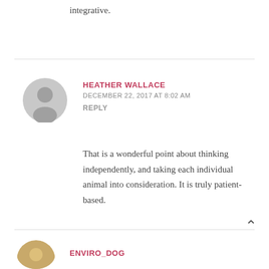integrative.
HEATHER WALLACE
DECEMBER 22, 2017 AT 8:02 AM
REPLY
That is a wonderful point about thinking independently, and taking each individual animal into consideration. It is truly patient-based.
ENVIRO_DOG